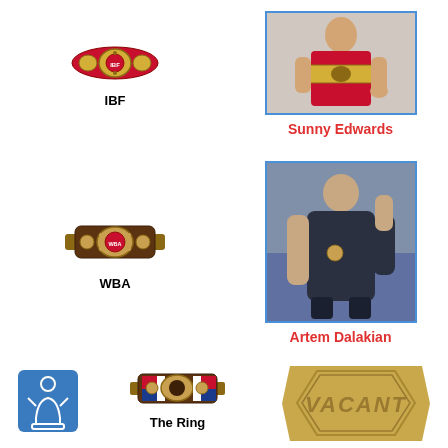[Figure (infographic): IBF championship belt icon (partial, top cropped)]
IBF
[Figure (photo): Sunny Edwards holding IBF championship belt, shirtless]
Sunny Edwards
[Figure (infographic): WBA championship belt icon]
WBA
[Figure (photo): Artem Dalakian posing in dark training shirt in a gym]
Artem Dalakian
[Figure (logo): Blue square icon with white chess pawn / boxer silhouette]
[Figure (infographic): The Ring magazine championship belt icon]
The Ring
[Figure (infographic): Gold hexagonal VACANT badge/stamp]